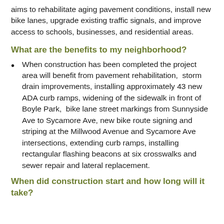aims to rehabilitate aging pavement conditions, install new bike lanes, upgrade existing traffic signals, and improve access to schools, businesses, and residential areas.
What are the benefits to my neighborhood?
When construction has been completed the project area will benefit from pavement rehabilitation,  storm drain improvements, installing approximately 43 new ADA curb ramps, widening of the sidewalk in front of Boyle Park,  bike lane street markings from Sunnyside Ave to Sycamore Ave, new bike route signing and striping at the Millwood Avenue and Sycamore Ave intersections, extending curb ramps, installing rectangular flashing beacons at six crosswalks and sewer repair and lateral replacement.
When did construction start and how long will it take?